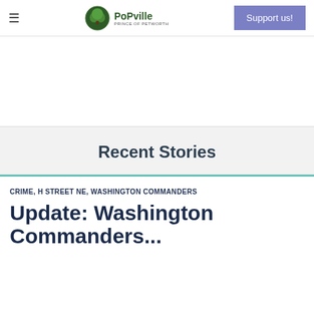≡  PoPville  Support us!
Recent Stories
CRIME, H STREET NE, WASHINGTON COMMANDERS
Update: Washington Commanders...